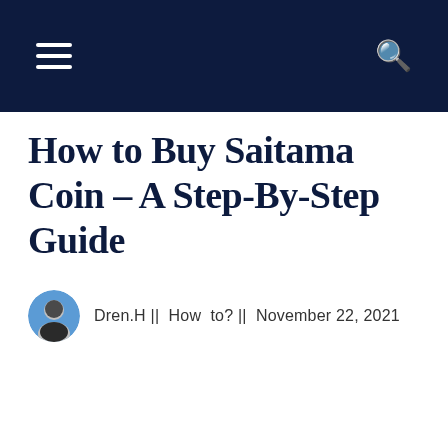How to Buy Saitama Coin – A Step-By-Step Guide
Dren.H || How to? || November 22, 2021